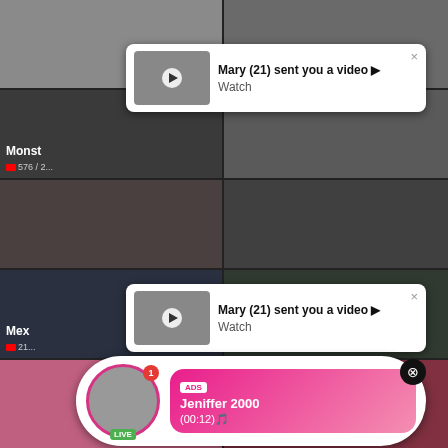[Figure (screenshot): Background grid of blurred video thumbnails arranged in a 2-column layout]
Mary (21) sent you a video ▶
Watch
Mary (21) sent you a video ▶
Watch
Monst
576 / ...
Mex
21
ADS
Jeniffer 2000
(00:12)🎵
LIVE
ADS
Angel is typing ... 💬
(1) unread message
LIVE